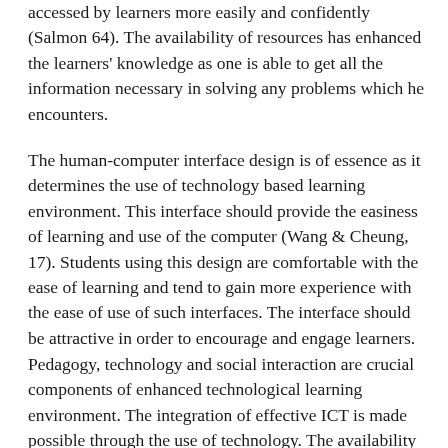accessed by learners more easily and confidently (Salmon 64). The availability of resources has enhanced the learners' knowledge as one is able to get all the information necessary in solving any problems which he encounters.
The human-computer interface design is of essence as it determines the use of technology based learning environment. This interface should provide the easiness of learning and use of the computer (Wang & Cheung, 17). Students using this design are comfortable with the ease of learning and tend to gain more experience with the ease of use of such interfaces. The interface should be attractive in order to encourage and engage learners.
Pedagogy, technology and social interaction are crucial components of enhanced technological learning environment. The integration of effective ICT is made possible through the use of technology. The availability of technology makes it possible for a sound